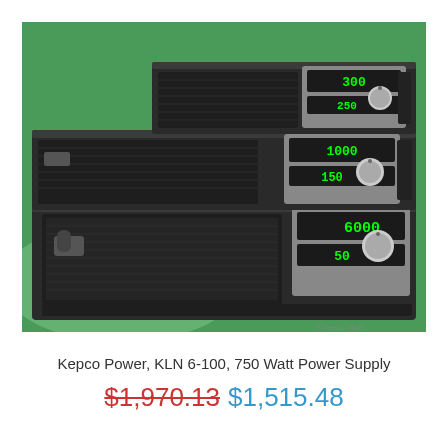[Figure (photo): Three stacked rack-mount power supply units (Kepco KLN series) in black chassis with green backlit digital displays showing values like 300/250, 1000/150, and 6000/50, photographed on a green background.]
Kepco Power, KLN 6-100, 750 Watt Power Supply
$1,970.13  $1,515.48